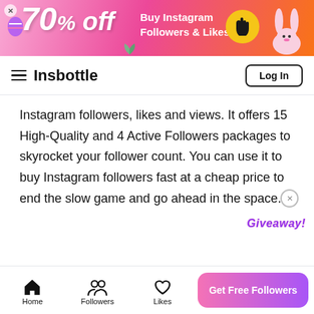[Figure (infographic): Pink/orange gradient banner ad: 70% off, Buy Instagram Followers & Likes, yellow circle with pointing finger, Easter bunny decoration on right]
Insbottle   Log In
Instagram followers, likes and views. It offers 15 High-Quality and 4 Active Followers packages to skyrocket your follower count. You can use it to buy Instagram followers fast at a cheap price to end the slow game and go ahead in the space.
[Figure (screenshot): Goread.io website screenshot showing logo and purple hero section with emoji icons]
Home   Followers   Likes   Get Free Followers